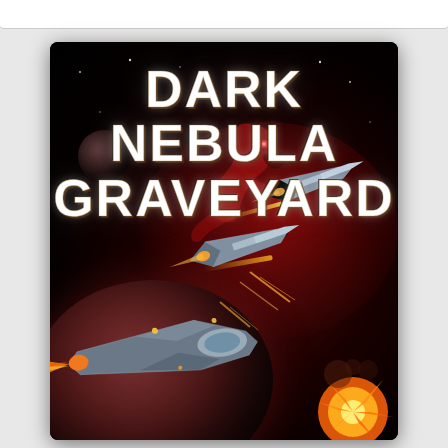[Figure (illustration): Book cover for 'Dark Nebula Graveyard' — a science fiction novel cover featuring a dark space scene with a red nebula shaped like a dinosaur/creature silhouette, two sleek metallic spaceships in flight, a large burning spaceship in the foreground with engine flames, an explosion in the lower right, a reddish planet in the lower left, a small dark moon in the upper left, all set against a deep black space background. The title 'DARK NEBULA GRAVEYARD' is displayed in large bold white metallic letters at the top.]